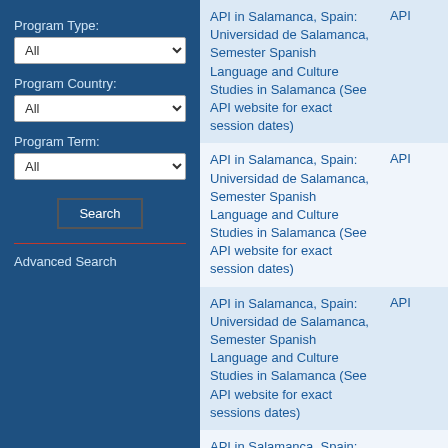Program Type:
All
Program Country:
All
Program Term:
All
Search
Advanced Search
| Program Name | Type |
| --- | --- |
| API in Salamanca, Spain: Universidad de Salamanca, Semester Spanish Language and Culture Studies in Salamanca (See API website for exact session dates) | API |
| API in Salamanca, Spain: Universidad de Salamanca, Semester Spanish Language and Culture Studies in Salamanca (See API website for exact session dates) | API |
| API in Salamanca, Spain: Universidad de Salamanca, Semester Spanish Language and Culture Studies in Salamanca (See API website for exact sessions dates) | API |
| API in Salamanca, Spain: Universidad de Salamanca, Semester Spanish |  |